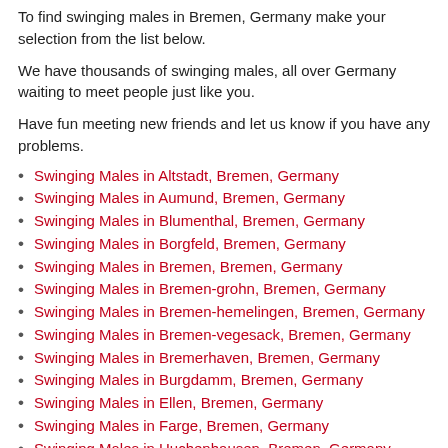To find swinging males in Bremen, Germany make your selection from the list below.
We have thousands of swinging males, all over Germany waiting to meet people just like you.
Have fun meeting new friends and let us know if you have any problems.
Swinging Males in Altstadt, Bremen, Germany
Swinging Males in Aumund, Bremen, Germany
Swinging Males in Blumenthal, Bremen, Germany
Swinging Males in Borgfeld, Bremen, Germany
Swinging Males in Bremen, Bremen, Germany
Swinging Males in Bremen-grohn, Bremen, Germany
Swinging Males in Bremen-hemelingen, Bremen, Germany
Swinging Males in Bremen-vegesack, Bremen, Germany
Swinging Males in Bremerhaven, Bremen, Germany
Swinging Males in Burgdamm, Bremen, Germany
Swinging Males in Ellen, Bremen, Germany
Swinging Males in Farge, Bremen, Germany
Swinging Males in Huchenhausen, Bremen, Germany